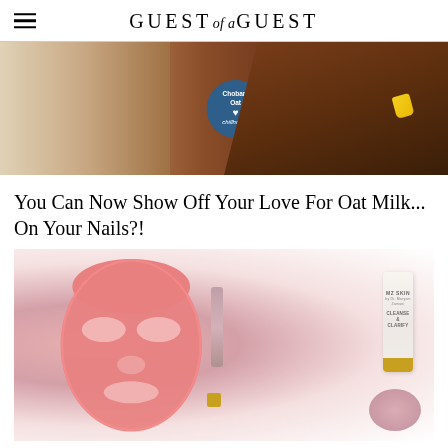GUEST of a GUEST
[Figure (photo): A hand with yellow nail polish holding a Chobani Oat product cup/container with a dark blue circular badge reading 'Chobani Oat x chillhouse', against a warm golden/brown background]
You Can Now Show Off Your Love For Oat Milk... On Your Nails?!
[Figure (photo): A pink LED light therapy face mask lying flat next to skincare products including a MZ SKIN 'Cleanse & Clarify' tube, a small serum bottle with gold cap, and a pink fluffy round pad, on a white marble surface with pink fabric]